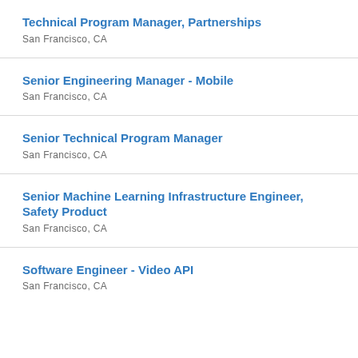Technical Program Manager, Partnerships
San Francisco, CA
Senior Engineering Manager - Mobile
San Francisco, CA
Senior Technical Program Manager
San Francisco, CA
Senior Machine Learning Infrastructure Engineer, Safety Product
San Francisco, CA
Software Engineer - Video API
San Francisco, CA